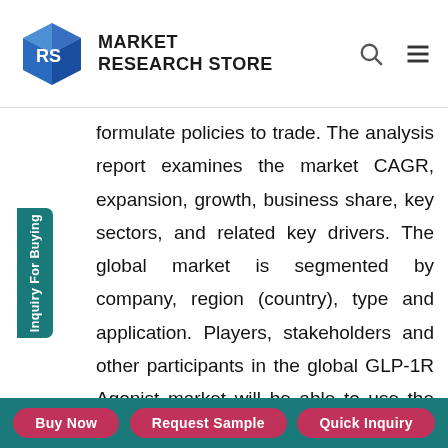MARKET RESEARCH STORE
formulate policies to trade. The analysis report examines the market CAGR, expansion, growth, business share, key sectors, and related key drivers. The global market is segmented by company, region (country), type and application. Players, stakeholders and other participants in the global GLP-1R Agonist market will be able to use the report as a powerful resource to gain the upper hand. The segmental analysis focuses on revenue and forecast by type, application, and region for the period 2018-2028.
Buy Now | Request Sample | Quick Inquiry